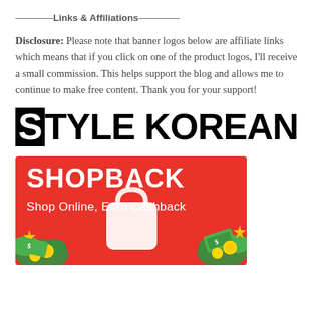————Links & Affiliations————-
Disclosure: Please note that banner logos below are affiliate links which means that if you click on one of the product logos, I'll receive a small commission. This helps support the blog and allows me to continue to make free content. Thank you for your support!
[Figure (logo): Style Korean logo — black block with white 'S' followed by 'TYLE KOREAN' in bold black text]
[Figure (illustration): ShopBack promotional banner — red background with 'SHOPBACK' in large white bold text, subtitle 'Shop Online, Earn Cashback', white shopping bag icon, green money/leaf decorations and gold coins]